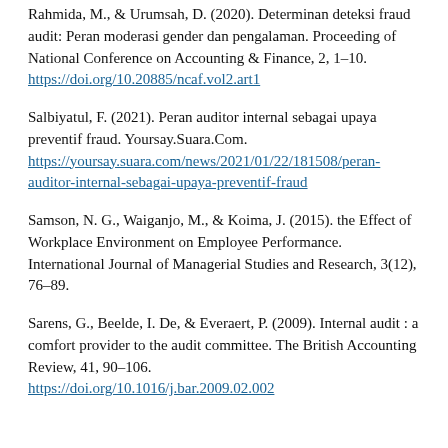Rahmida, M., & Urumsah, D. (2020). Determinan deteksi fraud audit: Peran moderasi gender dan pengalaman. Proceeding of National Conference on Accounting & Finance, 2, 1–10. https://doi.org/10.20885/ncaf.vol2.art1
Salbiyatul, F. (2021). Peran auditor internal sebagai upaya preventif fraud. Yoursay.Suara.Com. https://yoursay.suara.com/news/2021/01/22/181508/peran-auditor-internal-sebagai-upaya-preventif-fraud
Samson, N. G., Waiganjo, M., & Koima, J. (2015). the Effect of Workplace Environment on Employee Performance. International Journal of Managerial Studies and Research, 3(12), 76–89.
Sarens, G., Beelde, I. De, & Everaert, P. (2009). Internal audit : a comfort provider to the audit committee. The British Accounting Review, 41, 90–106. https://doi.org/10.1016/j.bar.2009.02.002